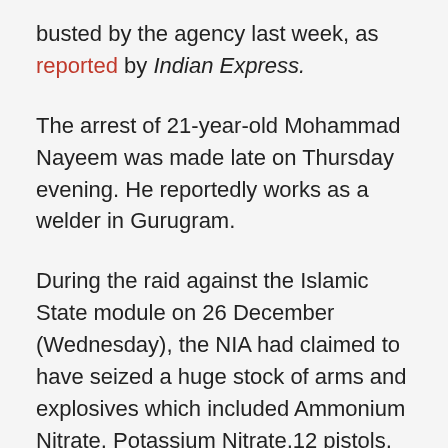busted by the agency last week, as reported by Indian Express.
The arrest of 21-year-old Mohammad Nayeem was made late on Thursday evening. He reportedly works as a welder in Gurugram.
During the raid against the Islamic State module on 26 December (Wednesday), the NIA had claimed to have seized a huge stock of arms and explosives which included Ammonium Nitrate, Potassium Nitrate,12 pistols, Sugar material paste, 150 rounds of live ammunition, Sulphur, 51 pipes, a remote control car triggering switch, steel containers, wireless digital doorbell for remote switch electric wires, 91 mobile phones, 134 SIM cards, three laptops, knife, sword, IS-